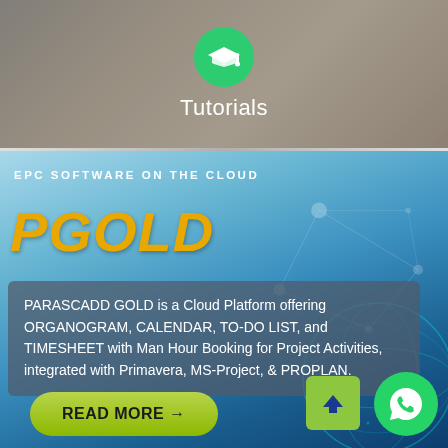[Figure (screenshot): Top banner section with blurred office background, green graduation cap circle icon, and 'Tutorials' label in white text]
EPC Software On The Cloud
PGOLD
PARASCADD GOLD is a Cloud Platform offering ORGANOGRAM, CALENDAR, TO-DO LIST, and TIMESHEET with Man Hour Booking for Project Activities, integrated with Primavera, MS-Project, & PROPLAN.
READ MORE →